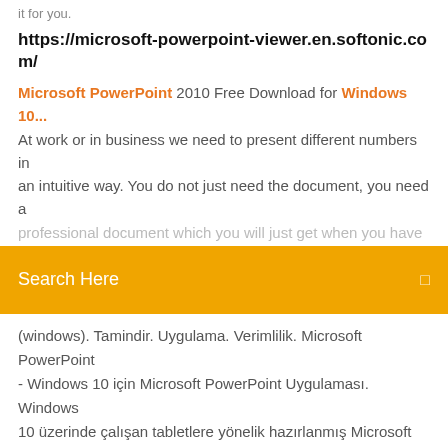it for you.
https://microsoft-powerpoint-viewer.en.softonic.com/
Microsoft PowerPoint 2010 Free Download for Windows 10... At work or in business we need to present different numbers in an intuitive way. You do not just need the document, you need a professional document which you will just get when you have
[Figure (screenshot): Orange search bar with text 'Search Here' and a small icon on the right]
(windows). Tamindir. Uygulama. Verimlilik. Microsoft PowerPoint - Windows 10 için Microsoft PowerPoint Uygulaması. Windows 10 üzerinde çalışan tabletlere yönelik hazırlanmış Microsoft PowerPoint uygulaması, tahmin edeceğiniz üzere masaüstündekinden... Download PowerPoint Viewer for Windows 10,7,8.1/8 (64/32 bits).
WindowsFacile a déjà partagé ce bon plan pour avoir le pack Office 2010 gratuit sur Windows 7. Malheureusement, ce